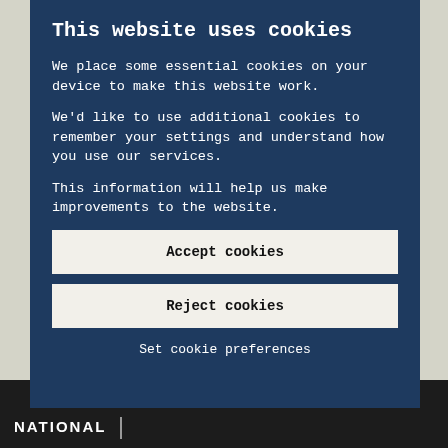This website uses cookies
We place some essential cookies on your device to make this website work.
We'd like to use additional cookies to remember your settings and understand how you use our services.
This information will help us make improvements to the website.
Accept cookies
Reject cookies
Set cookie preferences
NATIONAL |